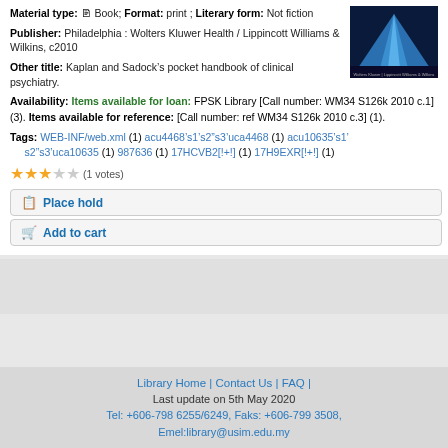Material type: Book; Format: print ; Literary form: Not fiction
Publisher: Philadelphia : Wolters Kluwer Health / Lippincott Williams & Wilkins, c2010
Other title: Kaplan and Sadock's pocket handbook of clinical psychiatry.
[Figure (photo): Book cover image showing blue pyramid shape on dark background with Wolters Kluwer / Lippincott Williams & Wilkins branding]
Availability: Items available for loan: FPSK Library [Call number: WM34 S126k 2010 c.1] (3). Items available for reference: [Call number: ref WM34 S126k 2010 c.3] (1).
Tags: WEB-INF/web.xml (1) acu4468s1s2"s3'uca4468 (1) acu10635s1 s2"s3'uca10635 (1) 987636 (1) 17HCVB2[!+!] (1) 17H9EXR[!+!] (1)
(1 votes)
Place hold
Add to cart
Library Home | Contact Us | FAQ |
Last update on 5th May 2020
Tel: +606-798 6255/6249, Faks: +606-799 3508,
Emel:library@usim.edu.my